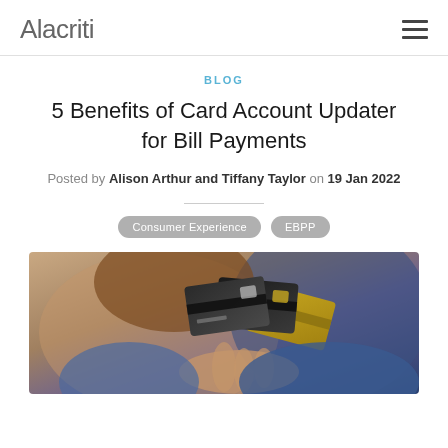Alacriti
BLOG
5 Benefits of Card Account Updater for Bill Payments
Posted by Alison Arthur and Tiffany Taylor on 19 Jan 2022
Consumer Experience
EBPP
[Figure (photo): A person in a blue jacket holding multiple credit cards — black and gold — fanned out in their hand, with a blurred background.]